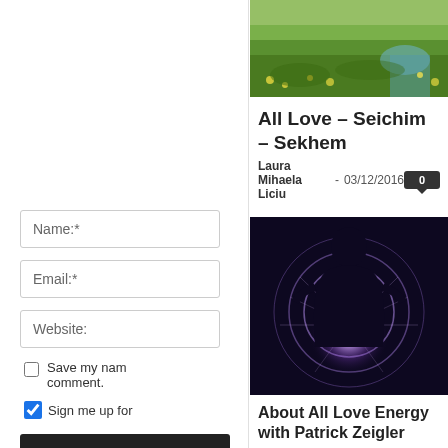[Figure (photo): Grass and wildflowers landscape with a stream, green nature scene at top of right panel]
All Love – Seichim – Sekhem
Laura Mihaela Liciu  -  03/12/2016
[Figure (photo): Silhouette of a human figure with glowing energy/aura emanating from chest area, purple and white light on dark background]
About All Love Energy with Patrick Zeigler
Ana Maria Bogdan  -  23/03/2017
Name:*
Email:*
Website:
Save my nam comment.
Sign me up for
Post Comment